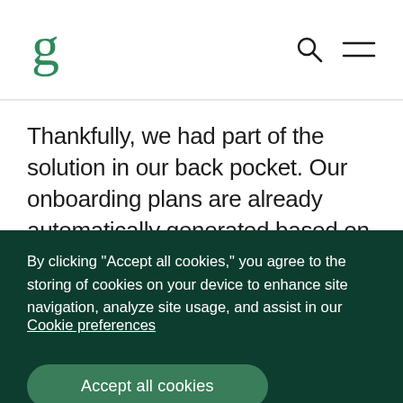Logo and navigation icons
Thankfully, we had part of the solution in our back pocket. Our onboarding plans are already automatically generated based on a
By clicking “Accept all cookies,” you agree to the storing of cookies on your device to enhance site navigation, analyze site usage, and assist in our marketing efforts. Privacy policy
Cookie preferences
Accept all cookies